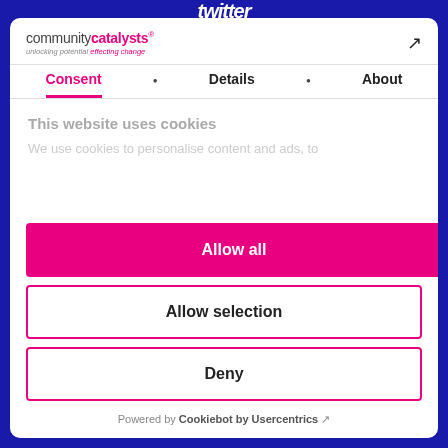twitter
[Figure (logo): Community Catalysts logo with tagline 'unlocking potential effecting change']
Consent • Details • About
This website uses cookies
We use cookies to personalise content and ads, to
Allow all
Allow selection
Deny
Powered by Cookiebot by Usercentrics